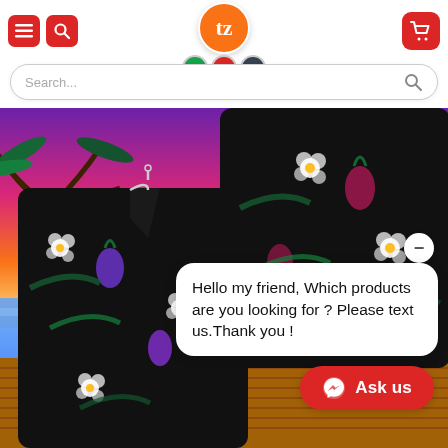[Figure (screenshot): E-commerce website header with red hamburger menu button, red search button, central orange circular logo with letter t and tz symbol, three badge icons below, and a red shopping cart button on the right.]
[Figure (screenshot): Search bar with placeholder text 'Search...' and a search icon on the right, rounded pill shape.]
[Figure (photo): Product photo showing two Hawaiian shirts with black background, tropical floral pattern including white hibiscus flowers, pink pineapples, and green palm leaves. Beach scene background with palm trees, ocean, and sunset sky. Wooden deck flooring visible at bottom. Chat overlay with message and Ask us button.]
Hello my friend, Which products are you looking for ? Please text us.Thank you !
Ask us